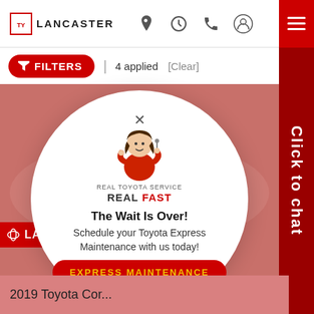[Figure (screenshot): Lancaster Toyota dealership website mobile screenshot showing a car listing page with a popup modal overlay. The header shows the Lancaster logo, navigation icons, and a red hamburger menu. A red Filters button shows 4 applied filters. A white circular popup displays a mascot character in red holding keys, text reading REAL TOYOTA SERVICE REAL FAST, The Wait Is Over!, Schedule your Toyota Express Maintenance with us today!, and an EXPRESS MAINTENANCE button. A red Click to chat sidebar is on the right. The bottom shows text '2019 Toyota Cor...']
LANCASTER
FILTERS  4 applied  [Clear]
REAL TOYOTA SERVICE
REAL FAST
The Wait Is Over!
Schedule your Toyota Express Maintenance with us today!
EXPRESS MAINTENANCE
Click to chat
2019 Toyota Cor...